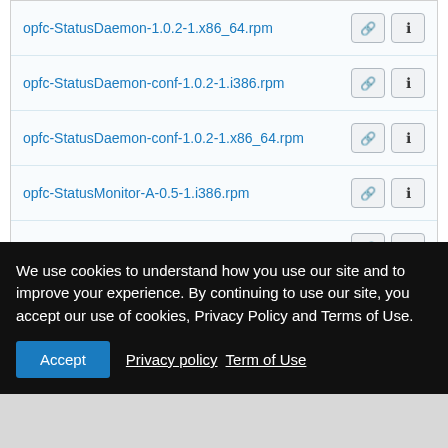opfc-StatusDaemon-1.0.2-1.x86_64.rpm
opfc-StatusDaemon-conf-1.0.2-1.i386.rpm
opfc-StatusDaemon-conf-1.0.2-1.x86_64.rpm
opfc-StatusMonitor-A-0.5-1.i386.rpm
opfc-StatusMonitor-A-0.5-1.x86_64.rpm
opfc-StatusMonitor-B-0.2-1.i386.rpm
opfc-StatusMonitor-B-0.2-1.x86_64.rpm
task-openprinting-jp-1.1.3-1.noarch.rpm
We use cookies to understand how you use our site and to improve your experience. By continuing to use our site, you accept our use of cookies, Privacy Policy and Terms of Use.
Accept  Privacy policy  Term of Use